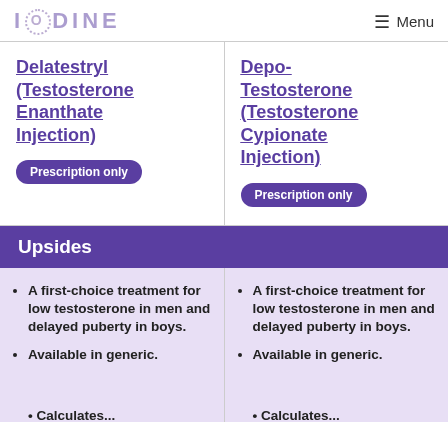IODINE  Menu
Delatestryl (Testosterone Enanthate Injection)
Prescription only
Depo-Testosterone (Testosterone Cypionate Injection)
Prescription only
Upsides
A first-choice treatment for low testosterone in men and delayed puberty in boys.
Available in generic.
A first-choice treatment for low testosterone in men and delayed puberty in boys.
Available in generic.